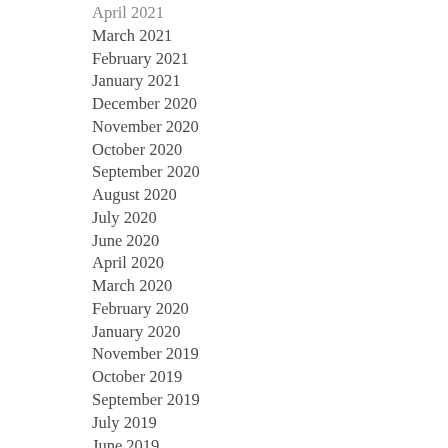April 2021
March 2021
February 2021
January 2021
December 2020
November 2020
October 2020
September 2020
August 2020
July 2020
June 2020
April 2020
March 2020
February 2020
January 2020
November 2019
October 2019
September 2019
July 2019
June 2019